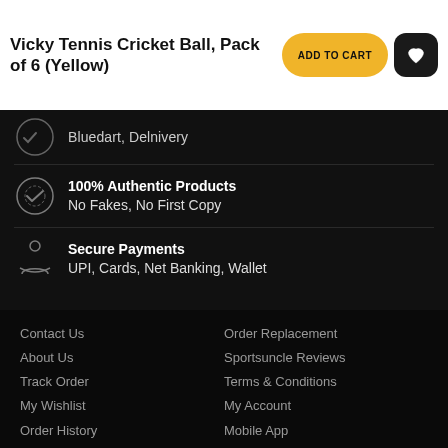Vicky Tennis Cricket Ball, Pack of 6 (Yellow)
Bluedart, Delivery
100% Authentic Products
No Fakes, No First Copy
Secure Payments
UPI, Cards, Net Banking, Wallet
Contact Us
About Us
Track Order
My Wishlist
Order History
Privacy Policy
Order Replacement
Sportsuncle Reviews
Terms & Conditions
My Account
Mobile App
Sports Blog